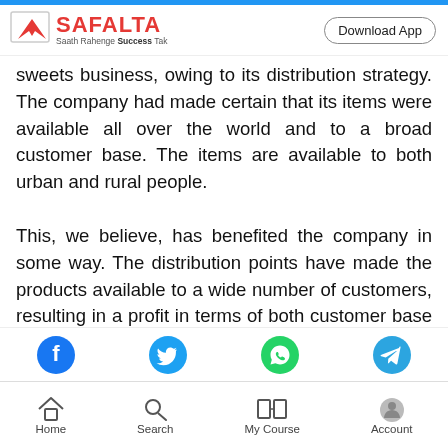[Figure (logo): Safalta logo with red arrow graphic and text 'Saath Rahenge Success Tak']
sweets business, owing to its distribution strategy. The company had made certain that its items were available all over the world and to a broad customer base. The items are available to both urban and rural people.
This, we believe, has benefited the company in some way. The distribution points have made the products available to a wide number of customers, resulting in a profit in terms of both customer base and income for the company. Supermarkets, grocery stores, and retail outlets are the most common places to buy food and
[Figure (infographic): Social media share icons: Facebook (blue), Twitter (blue bird), WhatsApp (green), Telegram (blue)]
[Figure (infographic): Bottom navigation bar with Home, Search, My Course, Account icons]